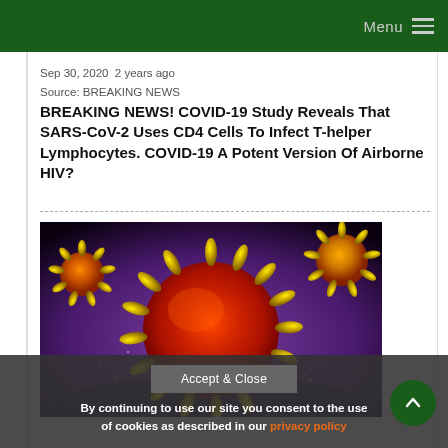Menu
Sep 30, 2020  2 years ago
Source: BREAKING NEWS
BREAKING NEWS! COVID-19 Study Reveals That SARS-CoV-2 Uses CD4 Cells To Infect T-helper Lymphocytes. COVID-19 A Potent Version Of Airborne HIV?
[Figure (photo): 3D illustration of coronavirus particles (SARS-CoV-2) shown with red and yellow spiky structures against a purple background]
By continuing to use our site you consent to the use of cookies as described in our privacy policy